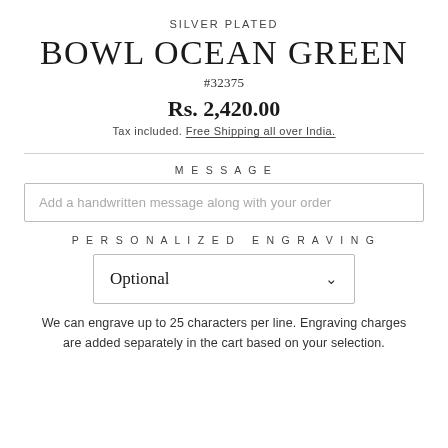SILVER PLATED
BOWL OCEAN GREEN
#32375
Rs. 2,420.00
Tax included. Free Shipping all over India.
MESSAGE
Add a handwritten message along with your order
PERSONALIZED ENGRAVING
Optional
We can engrave up to 25 characters per line. Engraving charges are added separately in the cart based on your selection.